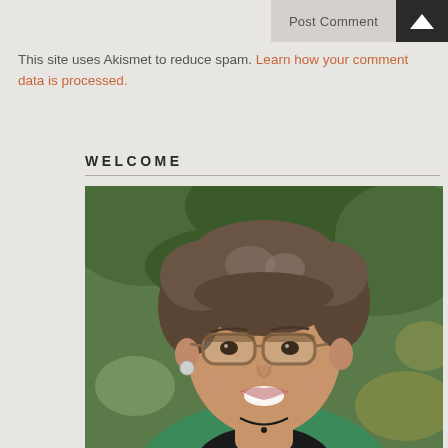Post Comment
This site uses Akismet to reduce spam. Learn how your comment data is processed.
WELCOME
[Figure (photo): Portrait photo of a middle-aged woman with curly brown and gray hair, wearing glasses with tortoiseshell frames, smiling, dressed in a green blazer and black top with a necklace, photographed outdoors with green foliage in the background.]